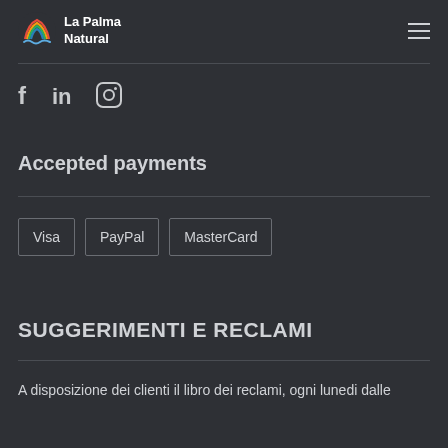[Figure (logo): La Palma Natural logo with colorful mountain/wave icon and text 'La Palma Natural']
[Figure (infographic): Social media icons: Facebook (f), LinkedIn (in), Instagram (circle camera icon)]
Accepted payments
Visa   PayPal   MasterCard
SUGGERIMENTI E RECLAMI
A disposizione dei clienti il libro dei reclami, ogni lunedi dalle